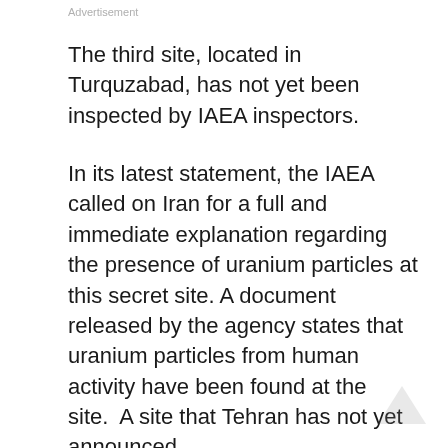Advertisement
The third site, located in Turquzabad, has not yet been inspected by IAEA inspectors.
In its latest statement, the IAEA called on Iran for a full and immediate explanation regarding the presence of uranium particles at this secret site. A document released by the agency states that uranium particles from human activity have been found at the site.  A site that Tehran has not yet announced.
This document released by the IAEA is set to be discussed by members of the Board of Governors next week. That is why the IAEA wants clarification and transparency in this regard.
During a visit to Iran, Rafael Grossi, Director